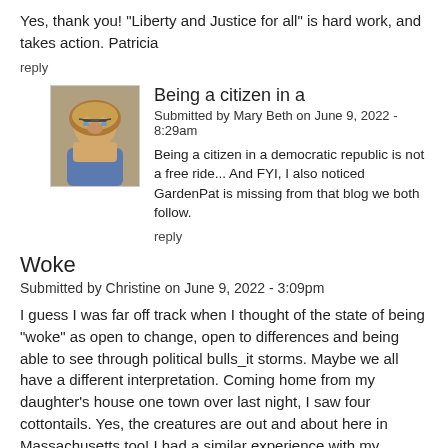Yes, thank you! "Liberty and Justice for all" is hard work, and takes action. Patricia
reply
[Figure (photo): Avatar photo of Mary Beth, a woman with short blonde hair and glasses wearing a blue shirt]
Being a citizen in a
Submitted by Mary Beth on June 9, 2022 - 8:29am
Being a citizen in a democratic republic is not a free ride... And FYI, I also noticed GardenPat is missing from that blog we both follow.
reply
Woke
Submitted by Christine on June 9, 2022 - 3:09pm
I guess I was far off track when I thought of the state of being "woke" as open to change, open to differences and being able to see through political bulls_it storms. Maybe we all have a different interpretation. Coming home from my daughter's house one town over last night, I saw four cottontails. Yes, the creatures are out and about here in Massachusetts too! I had a similar experience with my dentist. Sadly, he told me most of the work we need at my age (60s) is to repair the old work